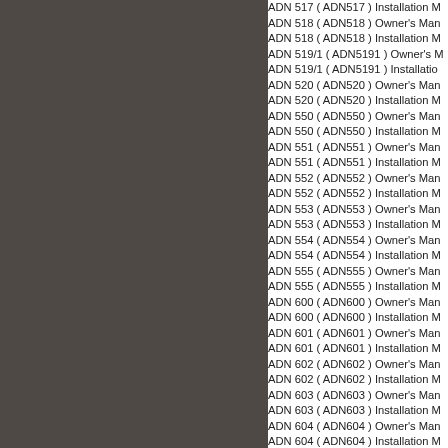[Figure (other): Dark grey/brown background panel occupying the left portion of the page]
ADN 517 ( ADN517 ) Installation M...
ADN 518 ( ADN518 ) Owner's Man...
ADN 518 ( ADN518 ) Installation M...
ADN 519/1 ( ADN5191 ) Owner's M...
ADN 519/1 ( ADN5191 ) Installatio...
ADN 520 ( ADN520 ) Owner's Man...
ADN 520 ( ADN520 ) Installation M...
ADN 550 ( ADN550 ) Owner's Man...
ADN 550 ( ADN550 ) Installation M...
ADN 551 ( ADN551 ) Owner's Man...
ADN 551 ( ADN551 ) Installation M...
ADN 552 ( ADN552 ) Owner's Man...
ADN 552 ( ADN552 ) Installation M...
ADN 553 ( ADN553 ) Owner's Man...
ADN 553 ( ADN553 ) Installation M...
ADN 554 ( ADN554 ) Owner's Man...
ADN 554 ( ADN554 ) Installation M...
ADN 555 ( ADN555 ) Owner's Man...
ADN 555 ( ADN555 ) Installation M...
ADN 600 ( ADN600 ) Owner's Man...
ADN 600 ( ADN600 ) Installation M...
ADN 601 ( ADN601 ) Owner's Man...
ADN 601 ( ADN601 ) Installation M...
ADN 602 ( ADN602 ) Owner's Man...
ADN 602 ( ADN602 ) Installation M...
ADN 603 ( ADN603 ) Owner's Man...
ADN 603 ( ADN603 ) Installation M...
ADN 604 ( ADN604 ) Owner's Man...
ADN 604 ( ADN604 ) Installation M...
ADN 605 ( ADN605 ) Owner's Man...
ADN 605 ( ADN605 ) Installation M...
ADN 606 ( ADN606 ) Owner's Man...
ADN 606 ( ADN606 ) Installation M...
ADN 607 ( ADN607 ) Owner's Man...
ADN 607 ( ADN607 ) Installation M...
ADN 608 ( ADN608 ) Owner's Man...
ADN 608 ( ADN608 ) Installation M...
ADN 609 ( ADN609 ) Owner's Man...